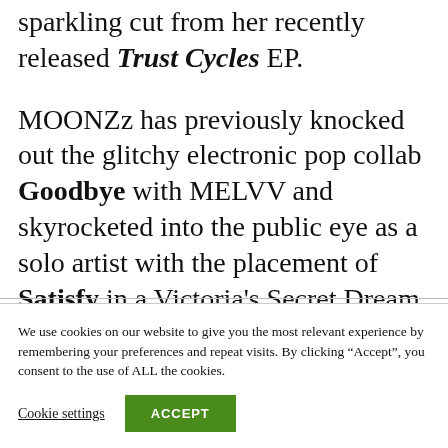sparkling cut from her recently released Trust Cycles EP.

MOONZz has previously knocked out the glitchy electronic pop collab Goodbye with MELVV and skyrocketed into the public eye as a solo artist with the placement of Satisfy in a Victoria's Secret Dream Angels commercial.  She
We use cookies on our website to give you the most relevant experience by remembering your preferences and repeat visits. By clicking “Accept”, you consent to the use of ALL the cookies.
Cookie settings
ACCEPT